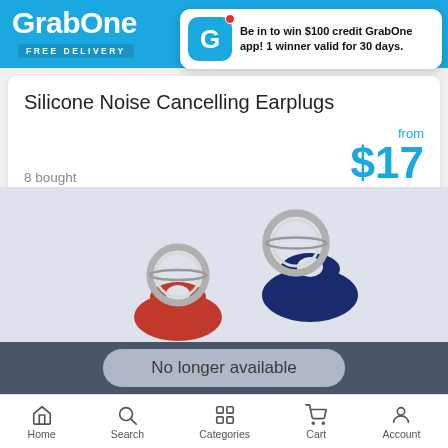GrabOne FREE DELIVERY
Be in to win $100 credit GrabOne app! 1 winner valid for 30 days.
Silicone Noise Cancelling Earplugs
8 bought
from $17
[Figure (photo): Photo of silicone keychains/AirTag holders in navy blue and red with silver metal rings on a light blue-grey background]
No longer available
Home  Search  Categories  Cart  Account